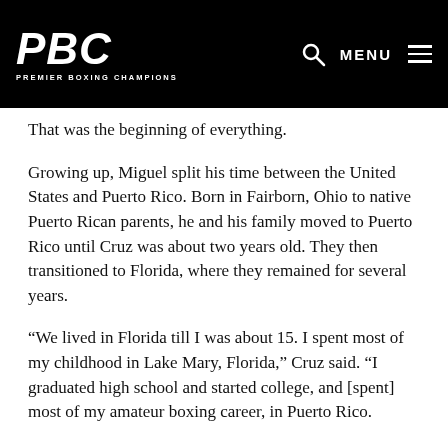PBC PREMIER BOXING CHAMPIONS
That was the beginning of everything.
Growing up, Miguel split his time between the United States and Puerto Rico. Born in Fairborn, Ohio to native Puerto Rican parents, he and his family moved to Puerto Rico until Cruz was about two years old. They then transitioned to Florida, where they remained for several years.
“We lived in Florida till I was about 15. I spent most of my childhood in Lake Mary, Florida,” Cruz said. “I graduated high school and started college, and [spent] most of my amateur boxing career, in Puerto Rico.
“I was obsessed with the sport since I was probably about five or six. My father watched a lot of boxing and